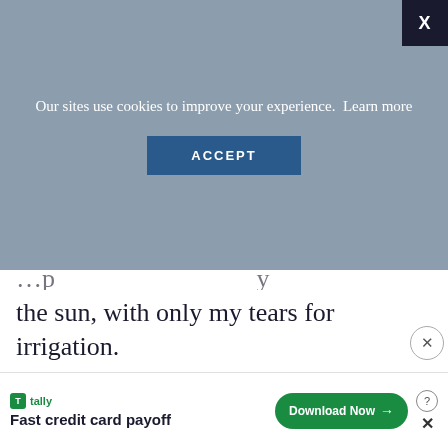[Figure (screenshot): Cookie consent overlay banner with 'X' close button, message 'Our sites use cookies to improve your experience. Learn more', and an ACCEPT button on a blueish-grey background.]
the sun, with only my tears for irrigation.
[Figure (photo): Photograph of tall trees with green foliage against a clear blue sky, viewed from below.]
[Figure (screenshot): Bottom advertisement banner for Tally app: green Tally logo, text 'Fast credit card payoff', green 'Download Now' button with arrow, help icon and close X.]